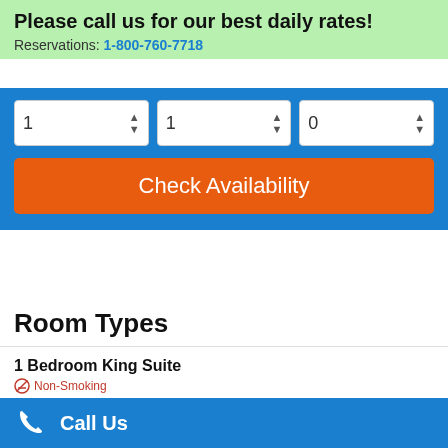Please call us for our best daily rates!
Reservations: 1-800-760-7718
[Figure (screenshot): Hotel booking widget with three dropdown selectors showing values 1, 1, 0 and an orange Check Availability button on a blue background]
Room Types
1 Bedroom King Suite
Non-Smoking
1 Bedroom Suite King Bed
Non-Smoking
1 King 1 Bedroom Suite
Call Us